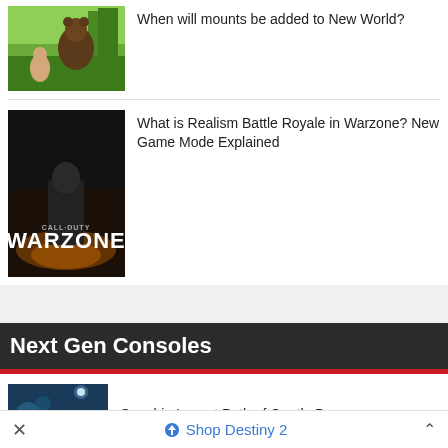When will mounts be added to New World?
[Figure (photo): Bear and player character fighting outdoors in a forest scene]
[Figure (photo): Call of Duty Warzone promotional image with title logo]
What is Realism Battle Royale in Warzone? New Game Mode Explained
Next Gen Consoles
[Figure (photo): Genshin Impact Path of Gentle Breezes dark teal scene thumbnail]
Genshin Impact Path of Gentle Breezes
Shop Destiny 2